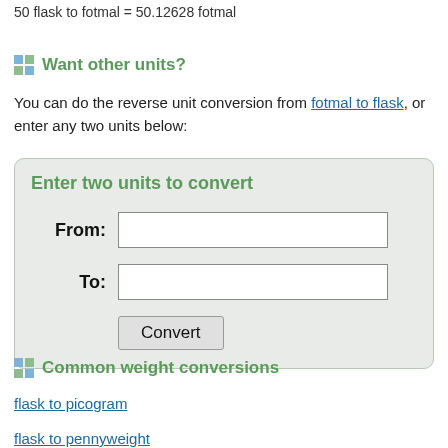50 flask to fotmal = 50.12628 fotmal
Want other units?
You can do the reverse unit conversion from fotmal to flask, or enter any two units below:
[Figure (other): Unit conversion form with From and To input fields and a Convert button, inside a light green rounded box titled 'Enter two units to convert']
Common weight conversions
flask to picogram
flask to pennyweight